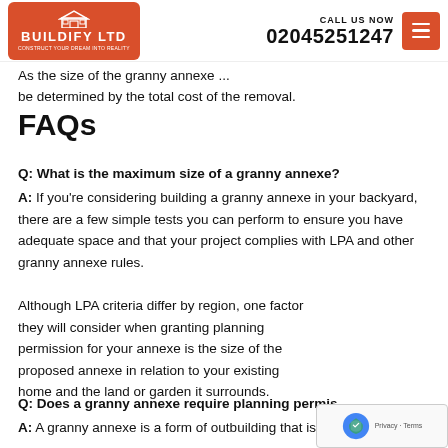[Figure (logo): Buildify Ltd logo on orange/red background with house icon, alongside CALL US NOW 02045251247 text and red menu button]
As the size of the granny annexe ... be determined by the total cost of the removal.
FAQs
Q: What is the maximum size of a granny annexe?
A: If you're considering building a granny annexe in your backyard, there are a few simple tests you can perform to ensure you have adequate space and that your project complies with LPA and other granny annexe rules.
Although LPA criteria differ by region, one factor they will consider when granting planning permission for your annexe is the size of the proposed annexe in relation to your existing home and the land or garden it surrounds.
Q: Does a granny annexe require planning permis...
A: A granny annexe is a form of outbuilding that is described...